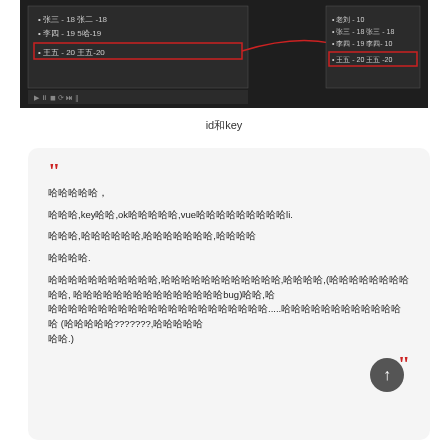[Figure (screenshot): Dark UI showing two panels with Chinese name-value list items, the last item (王五-20/王五-20) highlighted with a red rectangle, connected by a red arrow line between the two panels]
id和key
" 哈哈哈哈哈，

哈哈哈,key哈哈,ok哈哈哈哈哈,vue哈哈哈哈哈哈哈哈哈li.

哈哈哈,哈哈哈哈哈哈,哈哈哈哈哈哈哈,哈哈哈哈

哈哈哈哈.

哈哈哈哈哈哈哈哈哈哈哈,(哈哈哈哈哈哈哈哈哈,哈哈哈哈哈哈哈哈哈哈哈哈哈哈哈bug)哈哈,哈哈哈哈哈哈哈哈哈哈哈哈哈哈哈哈哈哈.....哈哈哈哈哈哈哈哈哈哈哈哈哈 (哈哈哈哈哈???????,哈哈哈哈哈哈哈哈.) "